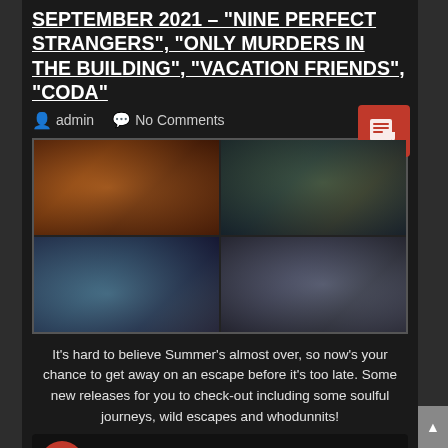SEPTEMBER 2021 – "NINE PERFECT STRANGERS", "ONLY MURDERS IN THE BUILDING", "VACATION FRIENDS", "CODA"
admin   No Comments
[Figure (photo): Four-panel photo grid showing stills from the featured movies/shows: top-left shows two people at a door, top-right shows people outdoors, bottom-left shows a group of friends, bottom-right shows a person in a car signing]
It's hard to believe Summer's almost over, so now's your chance to get away on an escape before it's too late. Some new releases for you to check-out including some soulful journeys, wild escapes and whodunnits!
[Figure (screenshot): Disney+ video player bar showing 'Only Murders in the ...' title with Disney+ logo (red circle with maple leaf and Disney wordmark) and three-dot menu]